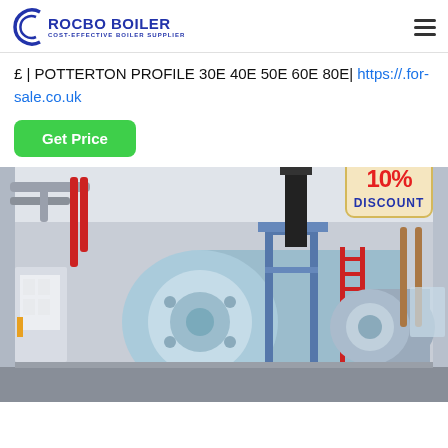ROCBO BOILER - COST-EFFECTIVE BOILER SUPPLIER
£ | POTTERTON PROFILE 30E 40E 50E 60E 80E| https://.for-sale.co.uk
Get Price
[Figure (photo): Industrial boiler room with large horizontal cylindrical boiler units, red and silver pipes, blue metal framework and ladder, and control cabinet. 10% DISCOUNT badge overlaid on top-right.]